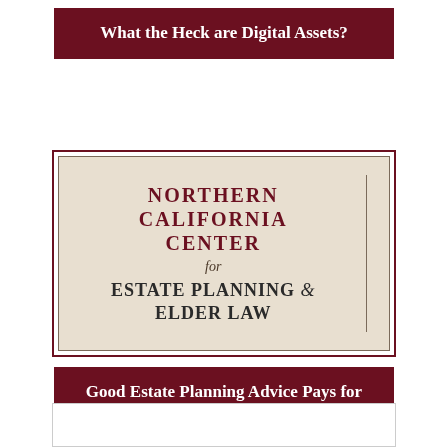What the Heck are Digital Assets?
[Figure (logo): Northern California Center for Estate Planning & Elder Law logo — beige/tan background with dark red and dark text, decorative vertical divider line on the right side]
Good Estate Planning Advice Pays for Itself